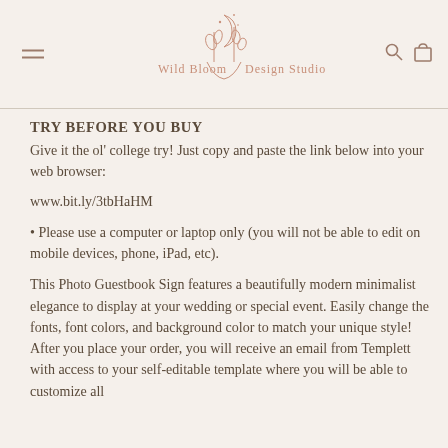Wild Bloom Design Studio
TRY BEFORE YOU BUY
Give it the ol' college try! Just copy and paste the link below into your web browser:
www.bit.ly/3tbHaHM
• Please use a computer or laptop only (you will not be able to edit on mobile devices, phone, iPad, etc).
This Photo Guestbook Sign features a beautifully modern minimalist elegance to display at your wedding or special event. Easily change the fonts, font colors, and background color to match your unique style! After you place your order, you will receive an email from Templett with access to your self-editable template where you will be able to customize all